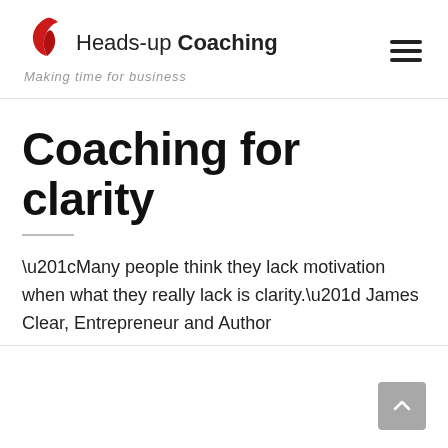[Figure (logo): Heads-up Coaching logo with red bird/flame graphic, text 'Heads-up Coaching' and tagline 'Making time for business']
Coaching for clarity
“Many people think they lack motivation when what they really lack is clarity.” James Clear, Entrepreneur and Author